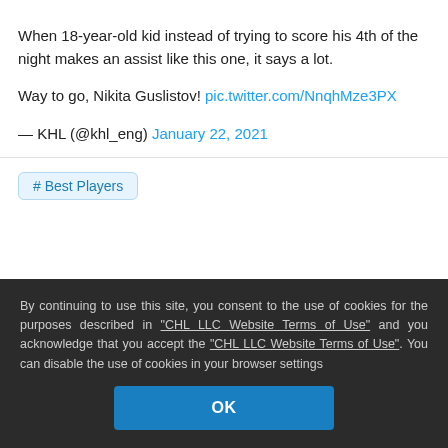When 18-year-old kid instead of trying to score his 4th of the night makes an assist like this one, it says a lot.

Way to go, Nikita Guslistov! pic.twitter.com/NnqhMze3PX
— KHL (@khl_eng) January 22, 2021
# Best Players
Рекомендуем
By continuing to use this site, you consent to the use of cookies for the purposes described in "CHL LLC Website Terms of Use" and you acknowledge that you accept the "CHL LLC Website Terms of Use". You can disable the use of cookies in your browser settings
OK